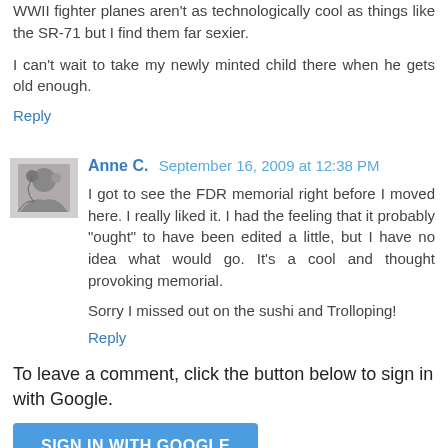WWII fighter planes aren't as technologically cool as things like the SR-71 but I find them far sexier.
I can't wait to take my newly minted child there when he gets old enough.
Reply
Anne C.  September 16, 2009 at 12:38 PM
I got to see the FDR memorial right before I moved here. I really liked it. I had the feeling that it probably "ought" to have been edited a little, but I have no idea what would go. It's a cool and thought provoking memorial.
Sorry I missed out on the sushi and Trolloping!
Reply
To leave a comment, click the button below to sign in with Google.
SIGN IN WITH GOOGLE